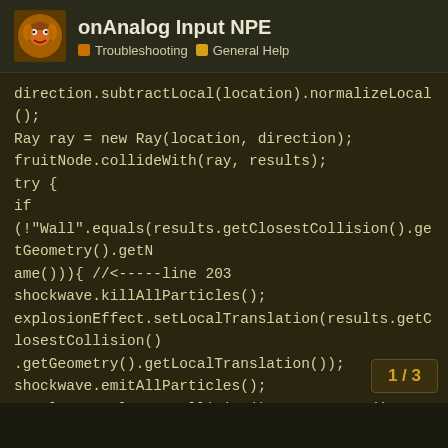onAnalog Input NPE — Troubleshooting  General Help
direction.subtractLocal(location).normalizeLocal();
Ray ray = new Ray(location, direction);
fruitNode.collideWith(ray, results);
try {
if
(!"Wall".equals(results.getClosestCollision().getGeometry().getName())){ //<-----line 203
shockwave.killAllParticles();
explosionEffect.setLocalTranslation(results.getClosestCollision().getGeometry().getLocalTranslation());
shockwave.emitAllParticles();
results.getClosestCollision().getGeometry().removeFromParent();
gameScore++;
}
else {
CollisionResult closest = results.getClosestCollision();
trailNode.setLocalTranslation(closest.getC
}